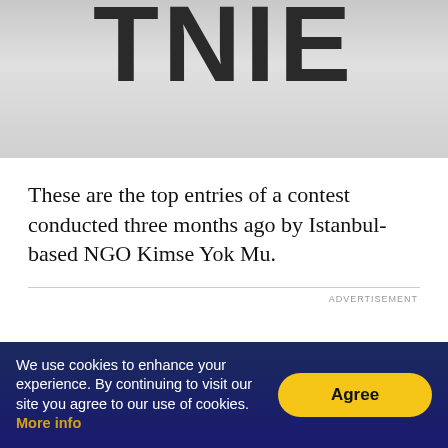[Figure (screenshot): Partial masthead/logo of publication showing large bold letters 'TNIE' on a grey gradient background]
These are the top entries of a contest conducted three months ago by Istanbul-based NGO Kimse Yok Mu.
ADVERTISEMENT
We use cookies to enhance your experience. By continuing to visit our site you agree to our use of cookies. More info  Agree